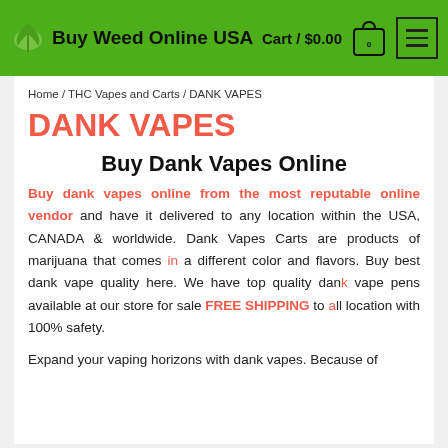Buy Weed Online USA  Cart / $0.00  0
Home / THC Vapes and Carts / DANK VAPES
DANK VAPES
Buy Dank Vapes Online
Buy dank vapes online from the most reputable online vendor and have it delivered to any location within the USA, CANADA & worldwide. Dank Vapes Carts are products of marijuana that comes in a different color and flavors. Buy best dank vape quality here. We have top quality dank vape pens available at our store for sale FREE SHIPPING to all location with 100% safety.
Expand your vaping horizons with dank vapes. Because of